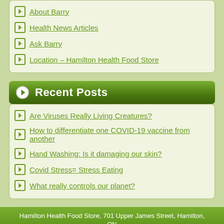About Barry
Health News Articles
Ask Barry
Location – Hamilton Health Food Store
Recent Posts
Are Viruses Really Living Creatures?
How to differentiate one COVID-19 vaccine from another
Hand Washing: Is it damaging our skin?
Covid Stress= Stress Eating
What really controls our planet?
Hamilton Health Food Store, 701 Upper James Street, Hamilton, ON
Copyright © 2022. All Rights Reserved.| Webmaster